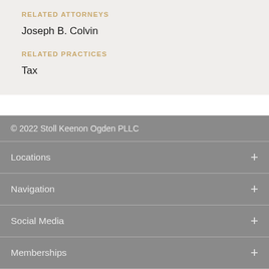RELATED ATTORNEYS
Joseph B. Colvin
RELATED PRACTICES
Tax
© 2022 Stoll Keenon Ogden PLLC
Locations
Navigation
Social Media
Memberships